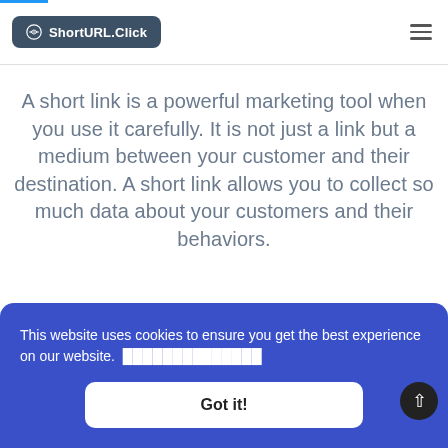ShortURL.Click
A short link is a powerful marketing tool when you use it carefully. It is not just a link but a medium between your customer and their destination. A short link allows you to collect so much data about your customers and their behaviors.
This website uses cookies to ensure you get the best experience on our website. [underlined link text]
Got it!